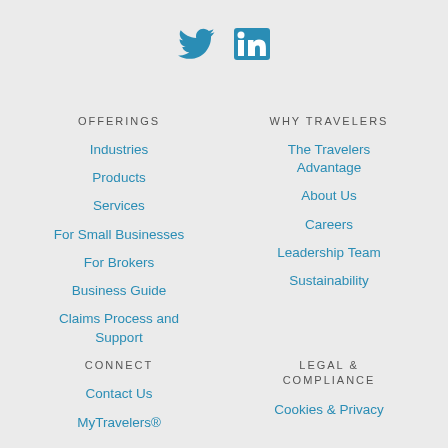[Figure (logo): Twitter and LinkedIn social media icons in blue]
OFFERINGS
Industries
Products
Services
For Small Businesses
For Brokers
Business Guide
Claims Process and Support
WHY TRAVELERS
The Travelers Advantage
About Us
Careers
Leadership Team
Sustainability
CONNECT
Contact Us
MyTravelers®
LEGAL & COMPLIANCE
Cookies & Privacy